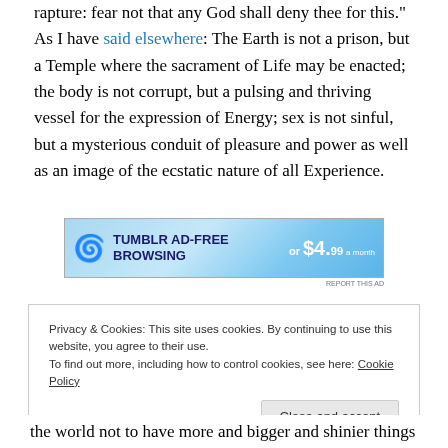"Be strong, O man lust, enjoy all things of sense and rapture: fear not that any God shall deny thee for this." As I have said elsewhere: The Earth is not a prison, but a Temple where the sacrament of Life may be enacted; the body is not corrupt, but a pulsing and thriving vessel for the expression of Energy; sex is not sinful, but a mysterious conduit of pleasure and power as well as an image of the ecstatic nature of all Experience.
[Figure (screenshot): Tumblr ad banner: 'TUMBLR AD-FREE BROWSING or $4.99 a month' with blue gradient background and Tumblr logo]
Privacy & Cookies: This site uses cookies. By continuing to use this website, you agree to their use.
To find out more, including how to control cookies, see here: Cookie Policy
[Close and accept button]
the world not to have more and bigger and shinier things